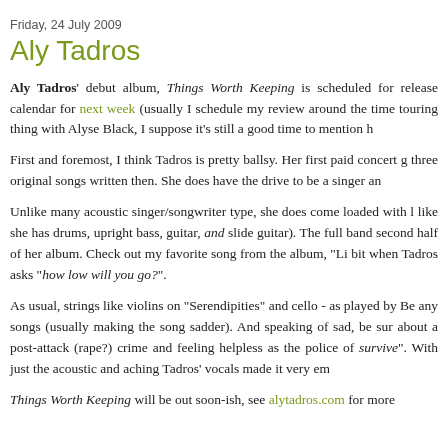Friday, 24 July 2009
Aly Tadros
Aly Tadros' debut album, Things Worth Keeping is scheduled for release calendar for next week (usually I schedule my review around the time touring thing with Alyse Black, I suppose it's still a good time to mention h
First and foremost, I think Tadros is pretty ballsy. Her first paid concert g three original songs written then. She does have the drive to be a singer an
Unlike many acoustic singer/songwriter type, she does come loaded with l like she has drums, upright bass, guitar, and slide guitar). The full band second half of her album. Check out my favorite song from the album, "Li bit when Tadros asks "how low will you go?".
As usual, strings like violins on "Serendipities" and cello - as played by Be any songs (usually making the song sadder). And speaking of sad, be sur about a post-attack (rape?) crime and feeling helpless as the police of survive". With just the acoustic and aching Tadros' vocals made it very em
Things Worth Keeping will be out soon-ish, see alytadros.com for more